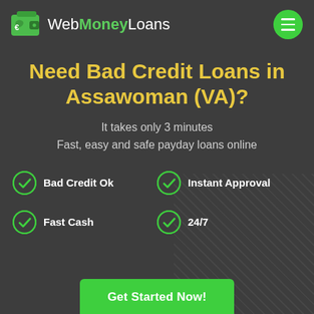[Figure (logo): WebMoneyLoans logo with green wallet icon and text, plus green hamburger menu button on the right]
Need Bad Credit Loans in Assawoman (VA)?
It takes only 3 minutes
Fast, easy and safe payday loans online
Bad Credit Ok
Instant Approval
Fast Cash
24/7
Get Started Now!